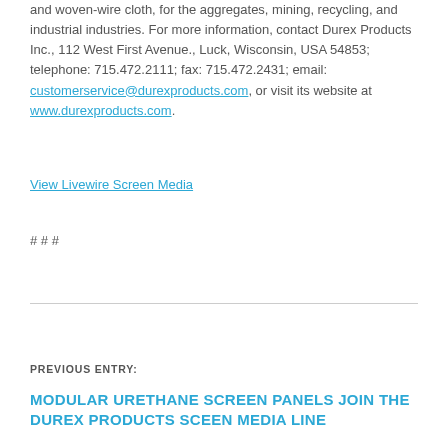and woven-wire cloth, for the aggregates, mining, recycling, and industrial industries. For more information, contact Durex Products Inc., 112 West First Avenue., Luck, Wisconsin, USA 54853; telephone: 715.472.2111; fax: 715.472.2431; email: customerservice@durexproducts.com, or visit its website at www.durexproducts.com.
View Livewire Screen Media
# # #
PREVIOUS ENTRY:
MODULAR URETHANE SCREEN PANELS JOIN THE DUREX PRODUCTS SCEEN MEDIA LINE